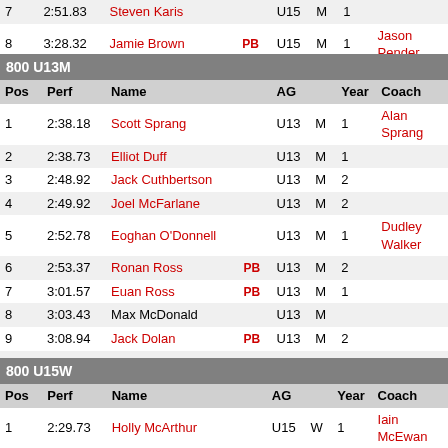| Pos | Perf | Name |  | AG |  | Year | Coach |
| --- | --- | --- | --- | --- | --- | --- | --- |
| 7 | 2:51.83 | Steven Karis |  | U15 | M | 1 |  |
| 8 | 3:28.32 | Jamie Brown | PB | U15 | M | 1 | Jason Pender |
800 U13M
| Pos | Perf | Name |  | AG |  | Year | Coach |
| --- | --- | --- | --- | --- | --- | --- | --- |
| 1 | 2:38.18 | Scott Sprang |  | U13 | M | 1 | Alan Sprang |
| 2 | 2:38.73 | Elliot Duff |  | U13 | M | 1 |  |
| 3 | 2:48.92 | Jack Cuthbertson |  | U13 | M | 2 |  |
| 4 | 2:49.92 | Joel McFarlane |  | U13 | M | 2 |  |
| 5 | 2:52.78 | Eoghan O'Donnell |  | U13 | M | 1 | Dudley Walker |
| 6 | 2:53.37 | Ronan Ross | PB | U13 | M | 2 |  |
| 7 | 3:01.57 | Euan Ross | PB | U13 | M | 1 |  |
| 8 | 3:03.43 | Max McDonald |  | U13 | M |  |  |
| 9 | 3:08.94 | Jack Dolan | PB | U13 | M | 2 |  |
| 10 | 3:09.70 | Cairn Wallace |  | U13 | M | 1 |  |
| 11 | 3:14.88 | Austin Thomson | PB | U13 | M | 1 |  |
| 12 | 3:17.37 | Ben Nichol |  | U13 | M | 1 |  |
| 13 | 3:20.76 | Calum Rogers | SB | U13 | M | 1 |  |
| 14 | 3:21.29 | Gavin Wilson | PB | U13 | M | 1 | Ken Allan |
| 15 | 3:27.40 | Luke Lindup |  | U13 | M | 2 |  |
800 U15W
| Pos | Perf | Name |  | AG |  | Year | Coach |
| --- | --- | --- | --- | --- | --- | --- | --- |
| 1 | 2:29.73 | Holly McArthur |  | U15 | W | 1 | Iain McEwan |
| 2 | 2:33.61 | Emily Craig |  | U15 | W | 2 | Iain McEwan |
| 3 | 2:44.58 | Charlotte Rose | PB | U15 | W | 2 |  |